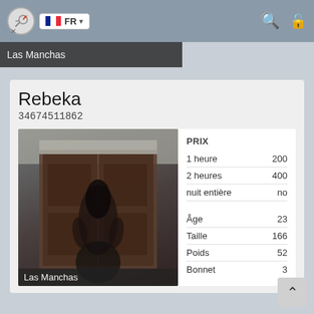FR
Las Manchas
Rebeka
34674511862
[Figure (photo): Woman standing with back to camera in front of wooden double doors, wearing dark clothing with long dark hair. Location label 'Las Manchas' at bottom.]
|  |  |
| --- | --- |
| PRIX |  |
| 1 heure | 200 |
| 2 heures | 400 |
| nuit entière | no |
|  |  |
| Âge | 23 |
| Taille | 166 |
| Poids | 52 |
| Bonnet | 3 |